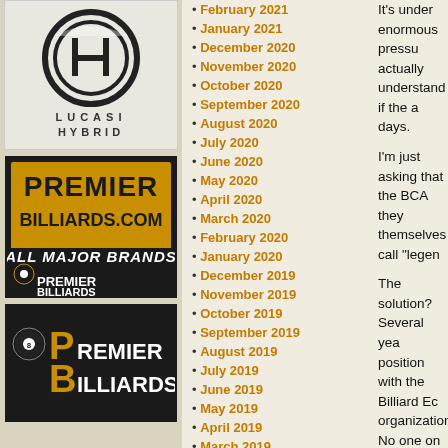[Figure (logo): Lucasi Hybrid billiards cue brand logo - circular H emblem with LUCASI HYBRID text]
[Figure (logo): Premier Billiards.com advertisement with gold background - ALL MAJOR BRANDS tagline]
[Figure (logo): Premier Billiards logo with 8-ball icon in dark background]
February 2021
January 2021
December 2020
November 2020
October 2020
September 2020
August 2020
July 2020
June 2020
May 2020
April 2020
March 2020
February 2020
January 2020
December 2019
November 2019
October 2019
September 2019
August 2019
July 2019
June 2019
May 2019
April 2019
March 2019
February 2019
It's under enormous pressu actually understand if the a days.

I'm just asking that the BCA they themselves call "legen

The solution? Several yea position with the Billiard Ec organization. No one on th importance of junior progra simply wasn't able to devo programs like the Junior Na board decided to let the BE and BEF trustee Laura Sm to fund the BEF for three y programs, sell sponsorship

The BEF still has a long wa sustaining, vital entity, but year by someone who's pa

The BCA should consider a aside some funds and entr time curator. The curator's sponsorships for the annu she would handle the logis the attendance of the living justify a year-round job? H uncovering and collecting a historic documents, progra guessing there are former